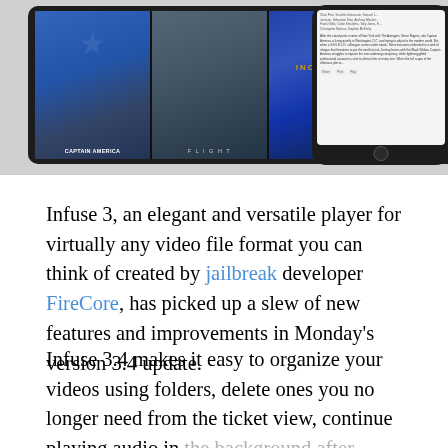[Figure (screenshot): Screenshot of Infuse 3 app showing movie posters (Captain America, Flight, Inception, Jack Reacher) on a tablet device alongside a phone showing movie detail view]
Infuse 3, an elegant and versatile player for virtually any video file format you can think of created by jailbreak developer FireCore, has picked up a slew of new features and improvements in Monday's version 3.4 update.
Infuse 3.4 makes it easy to organize your videos using folders, delete ones you no longer need from the ticket view, continue playing audio in the background after leaving the app to quickly check your email, and more.